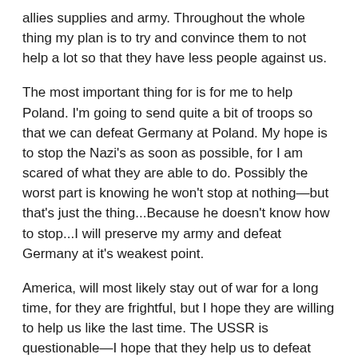allies supplies and army. Throughout the whole thing my plan is to try and convince them to not help a lot so that they have less people against us.
The most important thing for is for me to help Poland. I'm going to send quite a bit of troops so that we can defeat Germany at Poland. My hope is to stop the Nazi's as soon as possible, for I am scared of what they are able to do. Possibly the worst part is knowing he won't stop at nothing—but that's just the thing...Because he doesn't know how to stop...I will preserve my army and defeat Germany at it's weakest point.
America, will most likely stay out of war for a long time, for they are frightful, but I hope they are willing to help us like the last time. The USSR is questionable—I hope that they help us to defeat Germany.
France 1, 1939